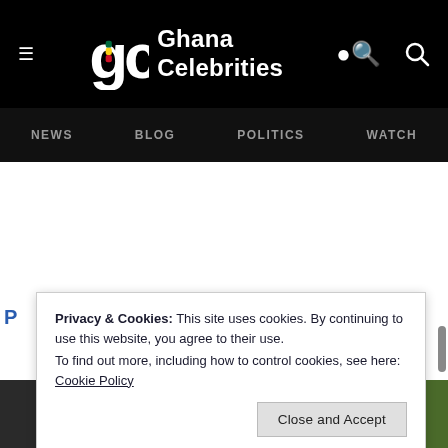Ghana Celebrities — NEWS | BLOG | POLITICS | WATCH
[Figure (screenshot): Ghana Celebrities website screenshot with black header, logo, navigation bar, white content area, and cookie consent banner. Cookie banner text: 'Privacy & Cookies: This site uses cookies. By continuing to use this website, you agree to their use. To find out more, including how to control cookies, see here: Cookie Policy' with a 'Close and Accept' button.]